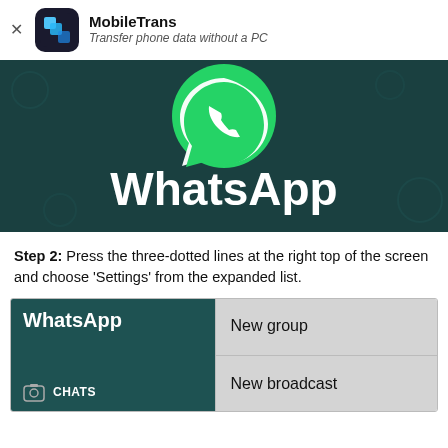MobileTrans — Transfer phone data without a PC
[Figure (screenshot): WhatsApp logo banner with green speech bubble icon and white WhatsApp text on dark teal background]
Step 2: Press the three-dotted lines at the right top of the screen and choose 'Settings' from the expanded list.
[Figure (screenshot): WhatsApp app screenshot showing the main screen with 'WhatsApp' header on dark teal background and CHATS option on the left, and a dropdown menu on the right showing 'New group' and 'New broadcast' options on grey background]